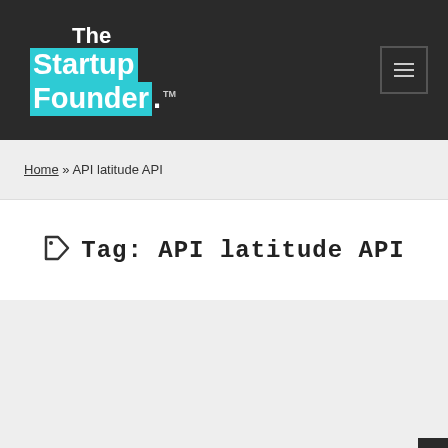The Startup Founder.™
Home » API latitude API
Tag: API latitude API